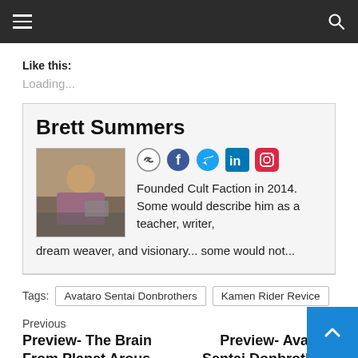Navigation bar with hamburger menu and search icon
Like this:
Loading...
Brett Summers
[Figure (photo): Photo of Brett Summers at a desk]
Founded Cult Faction in 2014. Some would describe him as a teacher, writer, dream weaver, and visionary... some would not...
Tags:
Avataro Sentai Donbrothers
Kamen Rider Revice
Previous
Preview- The Brain From Planet Arous (Special
Preview- Avataro Sentai Donbrothers Ep. 14: